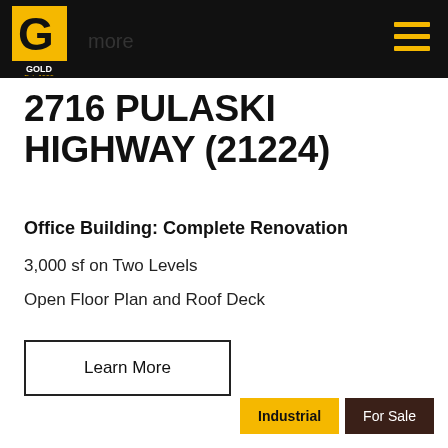GOLD Est. 1999 [logo header]
2716 PULASKI HIGHWAY (21224)
Office Building: Complete Renovation
3,000 sf on Two Levels
Open Floor Plan and Roof Deck
Learn More
Industrial  For Sale